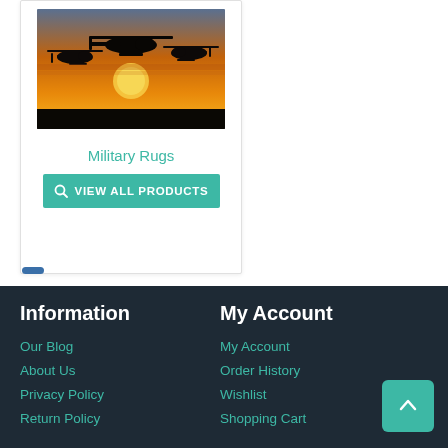[Figure (photo): Photo of military helicopters silhouetted against a sunset sky, part of a product card for Military Rugs]
Military Rugs
VIEW ALL PRODUCTS
Information
Our Blog
About Us
Privacy Policy
Return Policy
My Account
My Account
Order History
Wishlist
Shopping Cart